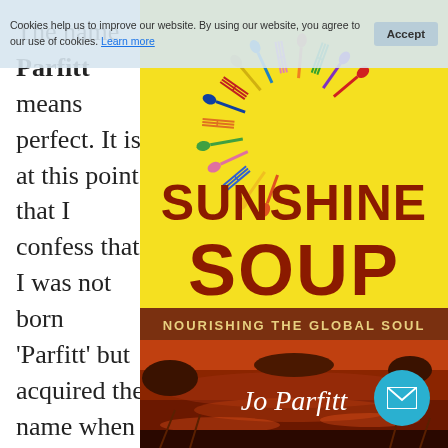The name Parfitt means perfect. It is at this point that I confess that I was not born 'Parfitt' but acquired the name when I married Ian. Those of you who read my
[Figure (illustration): Book cover of 'Sunshine Soup: Nourishing the Global Soul' by Jo Parfitt. Yellow background with colorful plastic cutlery arranged in a semicircle at top, large dark red title text 'SUNSHINE SOUP', subtitle 'NOURISHING THE GLOBAL SOUL' on a brown band, and a sunset/water landscape at the bottom with author name 'Jo Parfitt' in white.]
Cookies help us to improve our website. By using our website, you agree to our use of cookies. Learn more